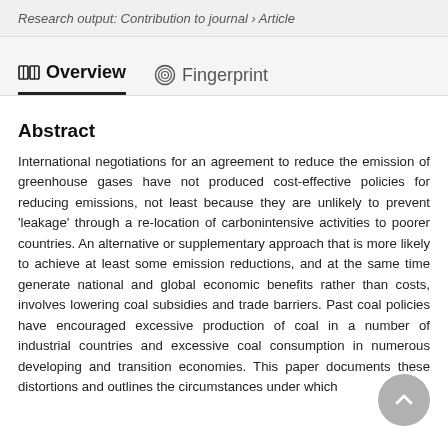Research output: Contribution to journal › Article
Overview   Fingerprint
Abstract
International negotiations for an agreement to reduce the emission of greenhouse gases have not produced cost-effective policies for reducing emissions, not least because they are unlikely to prevent 'leakage' through a re-location of carbonintensive activities to poorer countries. An alternative or supplementary approach that is more likely to achieve at least some emission reductions, and at the same time generate national and global economic benefits rather than costs, involves lowering coal subsidies and trade barriers. Past coal policies have encouraged excessive production of coal in a number of industrial countries and excessive coal consumption in numerous developing and transition economies. This paper documents these distortions and outlines the circumstances under which